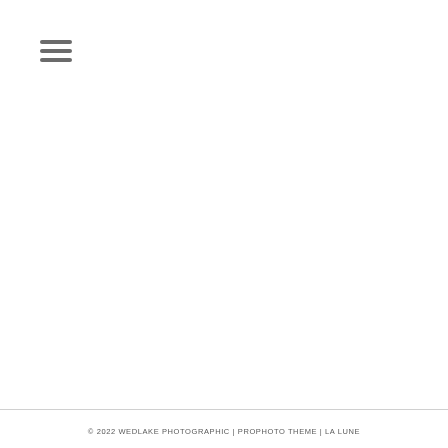[Figure (other): Hamburger menu icon — three horizontal gray lines stacked vertically in the top-left corner]
© 2022 WEDLAKE PHOTOGRAPHIC | PROPHOTO THEME | LA LUNE